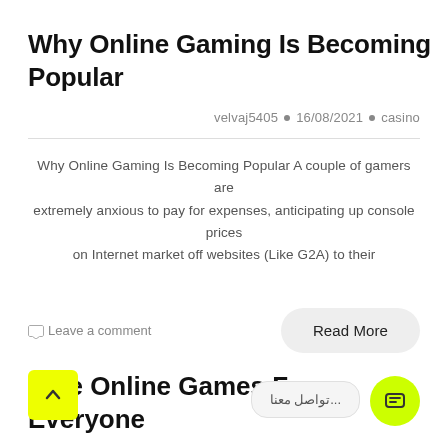Why Online Gaming Is Becoming Popular
velvaj5405 • 16/08/2021 • casino
Why Online Gaming Is Becoming Popular A couple of gamers are extremely anxious to pay for expenses, anticipating up console prices on Internet market off websites (Like G2A) to their
Leave a comment
Read More
Free Online Games For Everyone